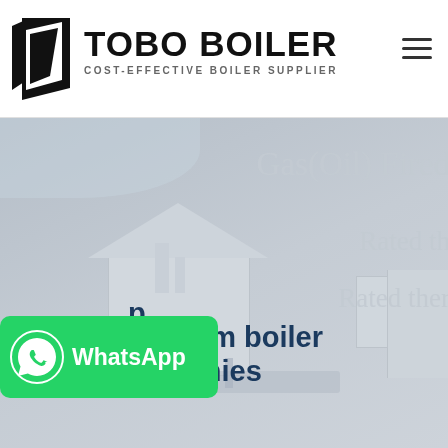[Figure (logo): TOBO BOILER logo with geometric icon on the left and text 'TOBO BOILER' with tagline 'COST-EFFECTIVE BOILER SUPPLIER']
[Figure (photo): Background hero image of industrial boiler equipment and a building, overlaid with partially visible text 'Gas(Oil) Fired...', 'Rated th...', 'Rated ther...' and prominent headline 'portable steam boiler companies' partially shown. Also shows WhatsApp button overlay in green.]